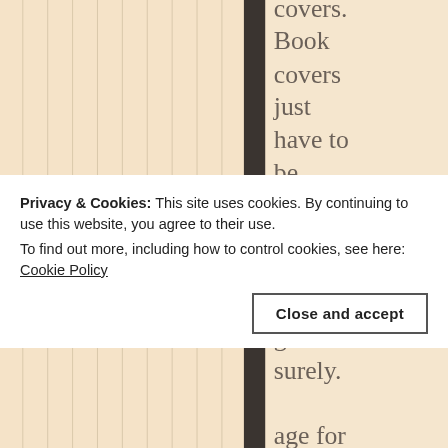covers. Book covers just have to be interesting and eye-catching. surely.
Privacy & Cookies: This site uses cookies. By continuing to use this website, you agree to their use.
To find out more, including how to control cookies, see here: Cookie Policy
Close and accept
age for